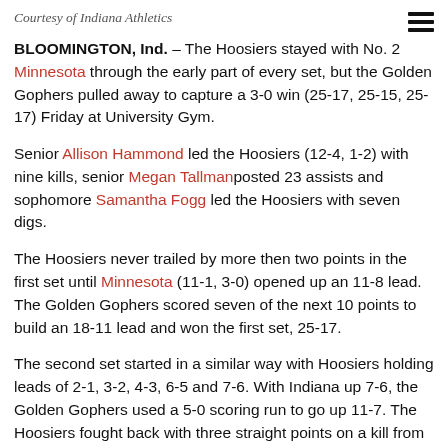Courtesy of Indiana Athletics
BLOOMINGTON, Ind. – The Hoosiers stayed with No. 2 Minnesota through the early part of every set, but the Golden Gophers pulled away to capture a 3-0 win (25-17, 25-15, 25-17) Friday at University Gym.
Senior Allison Hammond led the Hoosiers (12-4, 1-2) with nine kills, senior Megan Tallman posted 23 assists and sophomore Samantha Fogg led the Hoosiers with seven digs.
The Hoosiers never trailed by more then two points in the first set until Minnesota (11-1, 3-0) opened up an 11-8 lead. The Golden Gophers scored seven of the next 10 points to build an 18-11 lead and won the first set, 25-17.
The second set started in a similar way with Hoosiers holding leads of 2-1, 3-2, 4-3, 6-5 and 7-6. With Indiana up 7-6, the Golden Gophers used a 5-0 scoring run to go up 11-7. The Hoosiers fought back with three straight points on a kill from redshirt freshman Kendall Bearman and back-to-back kills by